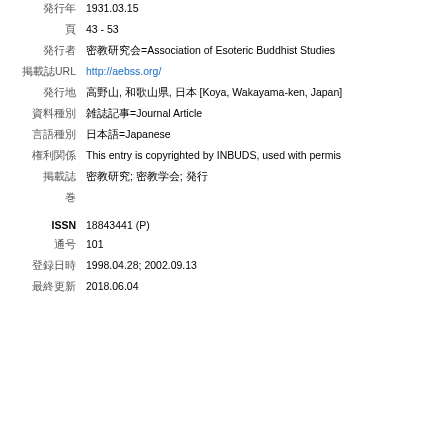発行年 1931.03.15
頁 43 - 53
発行者 密教研究会=Association of Esoteric Buddhist Studies
掲載誌URL http://aebss.org/
発行地 高野山, 和歌山県, 日本 [Koya, Wakayama-ken, Japan]
資料種別 雑誌記事=Journal Article
言語種別 日本語=Japanese
権利関係 This entry is copyrighted by INBUDS, used with permis
掲載誌 密教研究; 密教学会; 発行
巻
ISSN 18843441 (P)
通号 101
登録日時 1998.04.28; 2002.09.13
最終更新 2018.06.04